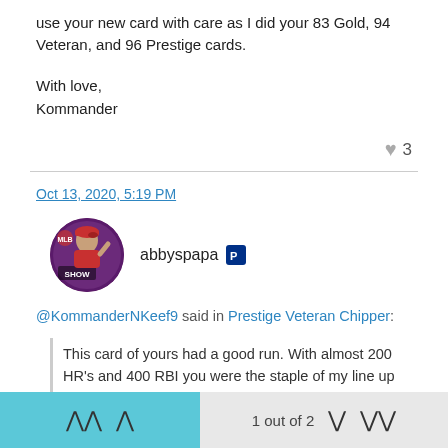use your new card with care as I did your 83 Gold, 94 Veteran, and 96 Prestige cards.
With love,
Kommander
♥ 3
Oct 13, 2020, 5:19 PM
abbyspapa [PlayStation icon]
@KommanderNKeef9 said in Prestige Veteran Chipper:
This card of yours had a good run. With almost 200 HR's and 400 RBI you were the staple of my line up this year. I
1 out of 2